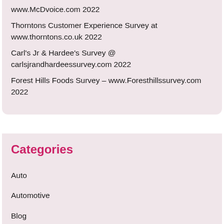www.McDvoice.com 2022
Thorntons Customer Experience Survey at www.thorntons.co.uk 2022
Carl's Jr & Hardee's Survey @ carlsjrandhardeessurvey.com 2022
Forest Hills Foods Survey – www.Foresthillssurvey.com 2022
Categories
Auto
Automotive
Blog